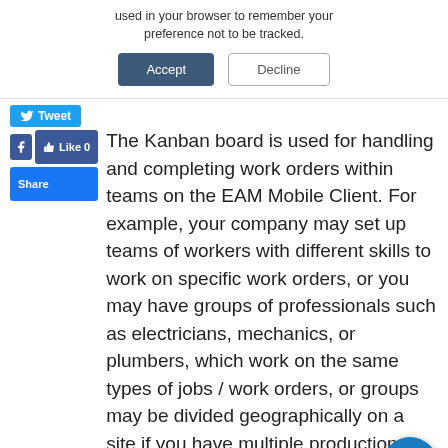used in your browser to remember your preference not to be tracked.
Accept | Decline
Tweet
The Kanban board is used for handling and completing work orders within teams on the EAM Mobile Client. For example, your company may set up teams of workers with different skills to work on specific work orders, or you may have groups of professionals such as electricians, mechanics, or plumbers, which work on the same types of jobs / work orders, or groups may be divided geographically on a site if you have multiple production facilities on one company address.